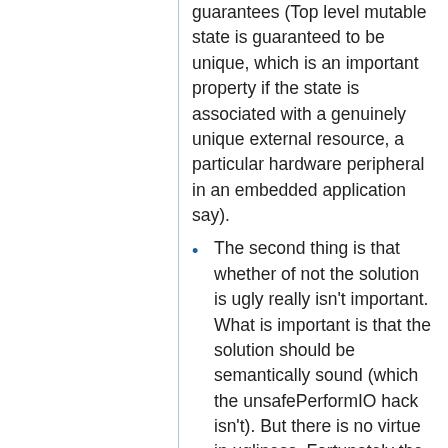guarantees (Top level mutable state is guaranteed to be unique, which is an important property if the state is associated with a genuinely unique external resource, a particular hardware peripheral in an embedded application say).
The second thing is that whether of not the solution is ugly really isn't important. What is important is that the solution should be semantically sound (which the unsafePerformIO hack isn't). But there is no virtue in ugliness. Fortunately the ACIO monad proposal with top level <- bindings is both sound and elegant in my opinion (would be more elegant if ACIO could be a